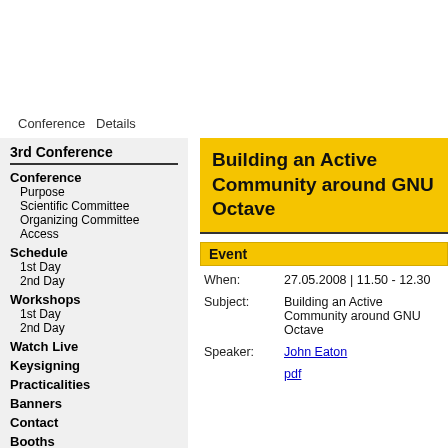Conference  Details
3rd Conference
Conference
Purpose
Scientific Committee
Organizing Committee
Access
Schedule
1st Day
2nd Day
Workshops
1st Day
2nd Day
Watch Live
Keysigning
Practicalities
Banners
Contact
Booths
User
Building an Active Community around GNU Octave
| Field | Value |
| --- | --- |
| When: | 27.05.2008 | 11.50 - 12.30 |
| Subject: | Building an Active Community around GNU Octave |
| Speaker: | John Eaton |
|  | pdf |